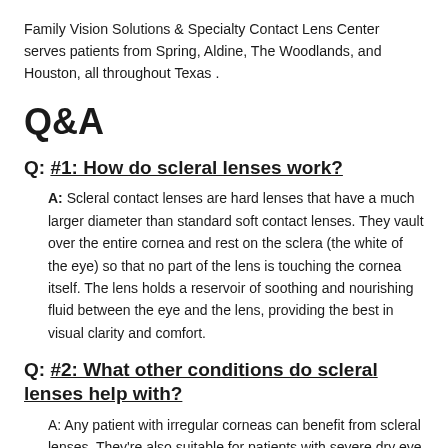Family Vision Solutions & Specialty Contact Lens Center serves patients from Spring, Aldine, The Woodlands, and Houston, all throughout Texas .
Q&A
Q: #1: How do scleral lenses work?
A: Scleral contact lenses are hard lenses that have a much larger diameter than standard soft contact lenses. They vault over the entire cornea and rest on the sclera (the white of the eye) so that no part of the lens is touching the cornea itself. The lens holds a reservoir of soothing and nourishing fluid between the eye and the lens, providing the best in visual clarity and comfort.
Q: #2: What other conditions do scleral lenses help with?
A: Any patient with irregular corneas can benefit from scleral lenses. They're also suitable for patients with severe dry eye